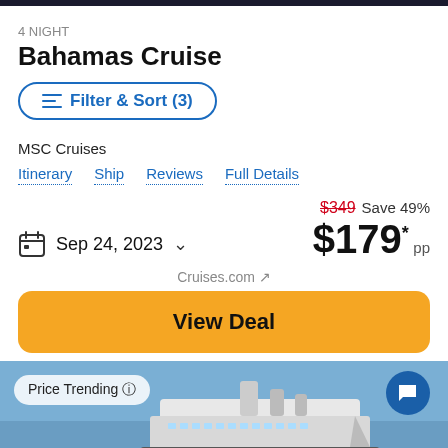4 NIGHT
Bahamas Cruise
Filter & Sort (3)
MSC Cruises
Itinerary
Ship
Reviews
Full Details
$349  Save 49%
$179* pp
Sep 24, 2023
Cruises.com ↗
View Deal
Price Trending ⓘ
[Figure (photo): Cruise ship at sea with blue sky background]